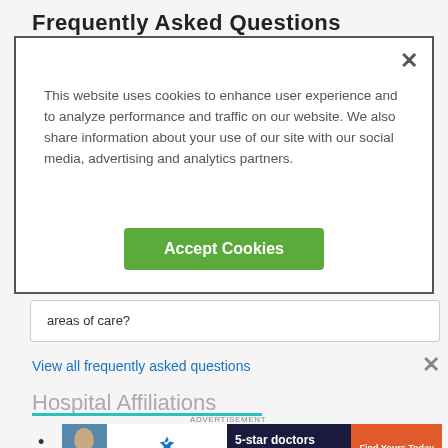Frequently Asked Questions
This website uses cookies to enhance user experience and to analyze performance and traffic on our website. We also share information about your use of our site with our social media, advertising and analytics partners.
Accept Cookies
areas of care?
View all frequently asked questions
Hospital Affiliations
[Figure (screenshot): Healthgrades advertisement banner: '5-star doctors really do exist. Find Yours Today']